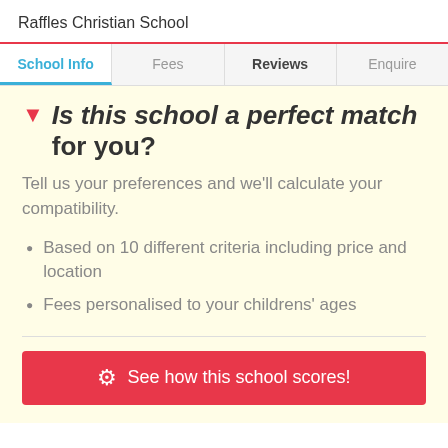Raffles Christian School
School Info | Fees | Reviews | Enquire
Is this school a perfect match for you?
Tell us your preferences and we'll calculate your compatibility.
Based on 10 different criteria including price and location
Fees personalised to your childrens' ages
See how this school scores!